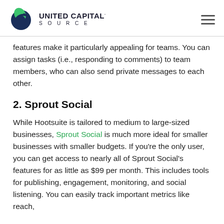United Capital Source
features make it particularly appealing for teams. You can assign tasks (i.e., responding to comments) to team members, who can also send private messages to each other.
2. Sprout Social
While Hootsuite is tailored to medium to large-sized businesses, Sprout Social is much more ideal for smaller businesses with smaller budgets. If you're the only user, you can get access to nearly all of Sprout Social's features for as little as $99 per month. This includes tools for publishing, engagement, monitoring, and social listening. You can easily track important metrics like reach,